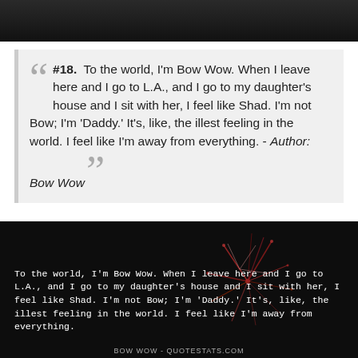[Figure (photo): Dark photo strip at top of page]
#18.  To the world, I'm Bow Wow. When I leave here and I go to L.A., and I go to my daughter's house and I sit with her, I feel like Shad. I'm not Bow; I'm 'Daddy.' It's, like, the illest feeling in the world. I feel like I'm away from everything. - Author: Bow Wow
[Figure (photo): Dark background with fireworks, quote text overlay]
To the world, I'm Bow Wow. When I leave here and I go to L.A., and I go to my daughter's house and I sit with her, I feel like Shad. I'm not Bow; I'm 'Daddy.' It's, like, the illest feeling in the world. I feel like I'm away from everything.
BOW WOW - QUOTESTATS.COM